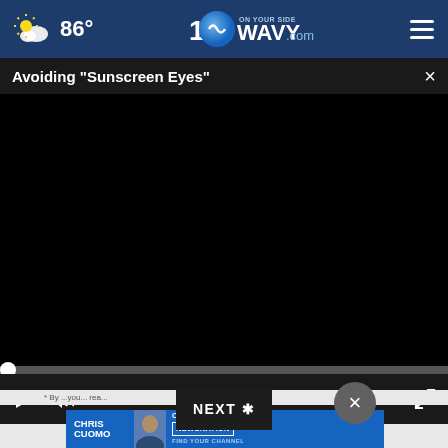86° WAVY.com On Your Side
Avoiding "Sunscreen Eyes"
[Figure (screenshot): Black video player area with progress bar and controls showing play button, mute button, 00:00 timestamp, and fullscreen icon]
[Figure (other): NEXT button overlay and close circle button over video controls]
[Figure (other): Advertisement banner: Chris Cuomo coming this fall to NewsNation - Find Your Channel]
* By ...you... rea...